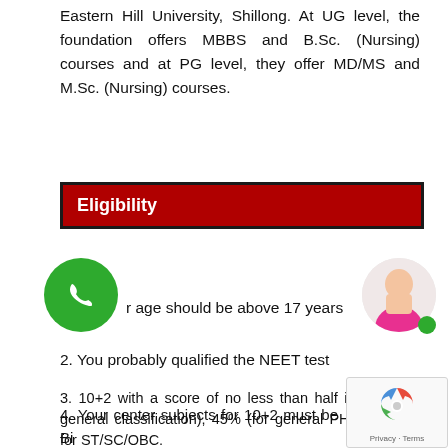Eastern Hill University, Shillong. At UG level, the foundation offers MBBS and B.Sc. (Nursing) courses and at PG level, they offer MD/MS and M.Sc. (Nursing) courses.
Eligibility
1. Your age should be above 17 years
2. You probably qualified the NEET test
3. 10+2 with a score of no less than half in PCB (for general classification), 45% (for general PH) and 40% for ST/SC/OBC.
4. Your center subjects for 10+2 must be Biology, Chemistry, English, and Physics